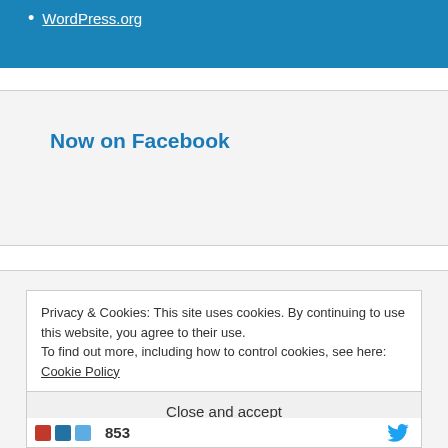WordPress.org
Now on Facebook
Privacy & Cookies: This site uses cookies. By continuing to use this website, you agree to their use.
To find out more, including how to control cookies, see here: Cookie Policy
Close and accept
[Figure (other): Social sharing bar with colorful icons, count 853, and Twitter bird icon]